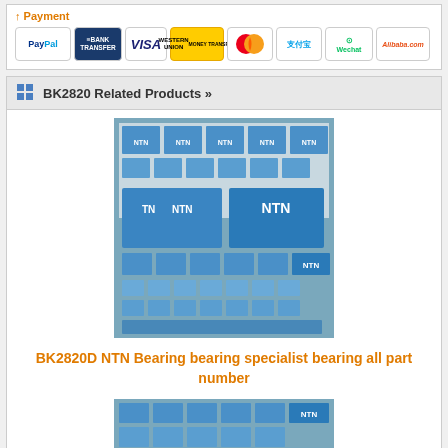[Figure (screenshot): Payment method logos: PayPal, Bank Transfer, VISA, Western Union, Mastercard, Alipay, WeChat, Alibaba]
BK2820 Related Products »
[Figure (photo): Photo of NTN bearing boxes stacked in blue and white packaging]
BK2820D NTN Bearing bearing specialist bearing all part number
[Figure (photo): Partial photo of NTN bearing boxes at bottom of page]